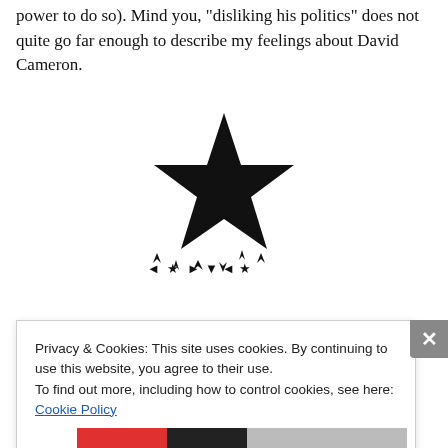power to do so). Mind you, "disliking his politics" does not quite go far enough to describe my feelings about David Cameron.
[Figure (illustration): David Bowie Blackstar album star logo: a large black five-pointed star above a row of smaller decorative stars/arrows]
[Figure (screenshot): Green button/bar UI element partially visible, overlaid by a cookie consent popup. The popup reads: 'Privacy & Cookies: This site uses cookies. By continuing to use this website, you agree to their use. To find out more, including how to control cookies, see here: Cookie Policy' with a 'Close and accept' button.]